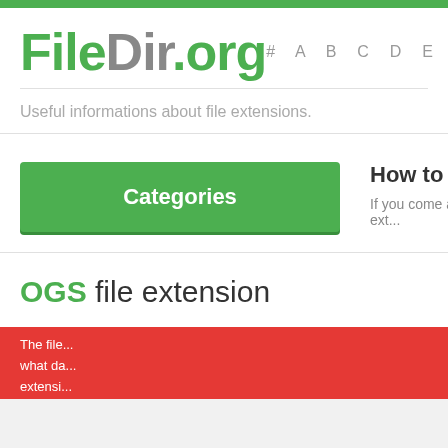FileDir.org
# A B C D E
Useful informations about file extensions.
Categories
How to open OGS
If you come across some file ext...
OGS file extension
The file... what da... extensi...